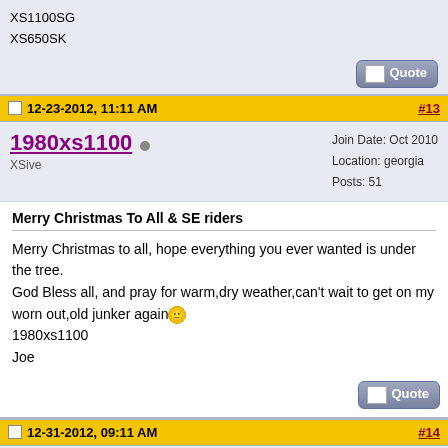XS1100SG
XS650SK
12-23-2012, 11:11 AM  #13
1980xs1100  XSive
Join Date: Oct 2010
Location: georgia
Posts: 51
Merry Christmas To All & SE riders
Merry Christmas to all, hope everything you ever wanted is under the tree.
God Bless all, and pray for warm,dry weather,can't wait to get on my worn out,old junker again
1980xs1100
Joe
12-31-2012, 09:11 AM  #14
jetmechmarty  Master of XSology
Join Date: Nov 2003
Location: Coldwater, Mississippi
Posts: 7,254
Today is the last day our rooms are reserved. Beginning tomorrow, it's first come, first served. I believe the place will be booked up by September. Happy New Year!